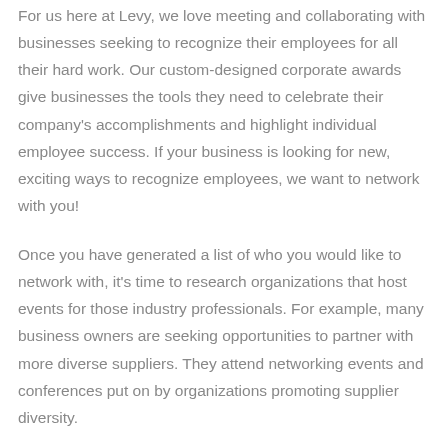For us here at Levy, we love meeting and collaborating with businesses seeking to recognize their employees for all their hard work. Our custom-designed corporate awards give businesses the tools they need to celebrate their company's accomplishments and highlight individual employee success. If your business is looking for new, exciting ways to recognize employees, we want to network with you!
Once you have generated a list of who you would like to network with, it's time to research organizations that host events for those industry professionals. For example, many business owners are seeking opportunities to partner with more diverse suppliers. They attend networking events and conferences put on by organizations promoting supplier diversity.
During the WBENC National Conference & Business Fair, Levy plans to take advantage of the opportunity to connect with women-owned